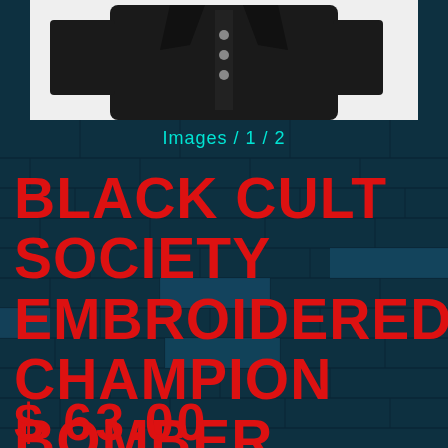[Figure (photo): Black bomber jacket product photo on white background, showing upper portion of the jacket with buttons visible]
Images / 1 / 2
BLACK CULT SOCIETY EMBROIDERED CHAMPION BOMBER JACKET
$ 63.00